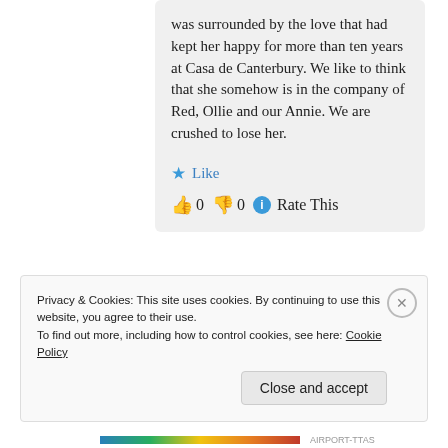was surrounded by the love that had kept her happy for more than ten years at Casa de Canterbury. We like to think that she somehow is in the company of Red, Ollie and our Annie. We are crushed to lose her.
★ Like
👍 0 👎 0 ℹ Rate This
Privacy & Cookies: This site uses cookies. By continuing to use this website, you agree to their use. To find out more, including how to control cookies, see here: Cookie Policy
Close and accept